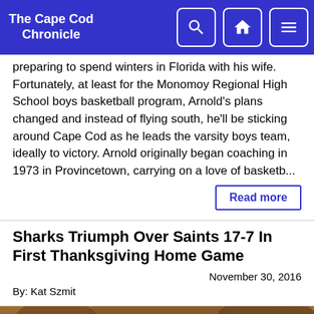The Cape Cod Chronicle
preparing to spend winters in Florida with his wife. Fortunately, at least for the Monomoy Regional High School boys basketball program, Arnold's plans changed and instead of flying south, he'll be sticking around Cape Cod as he leads the varsity boys team, ideally to victory. Arnold originally began coaching in 1973 in Provincetown, carrying on a love of basketb...
Read more
Sharks Triumph Over Saints 17-7 In First Thanksgiving Home Game
November 30, 2016
By: Kat Szmit
[Figure (photo): Football players on field during Thanksgiving game, players in dark navy and blue/red uniforms facing off]